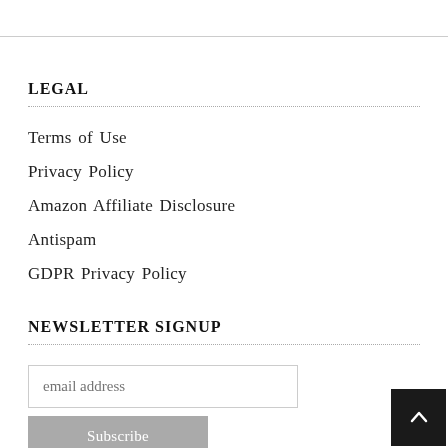LEGAL
Terms of Use
Privacy Policy
Amazon Affiliate Disclosure
Antispam
GDPR Privacy Policy
NEWSLETTER SIGNUP
email address
Subscribe